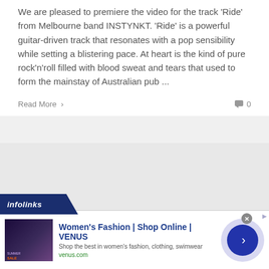We are pleased to premiere the video for the track 'Ride' from Melbourne band INSTYNKT. 'Ride' is a powerful guitar-driven track that resonates with a pop sensibility while setting a blistering pace. At heart is the kind of pure rock'n'roll filled with blood sweat and tears that used to form the mainstay of Australian pub ...
Read More > 0
[Figure (screenshot): Infolinks advertisement banner for Women's Fashion at VENUS, showing ad image with summer sale, ad title 'Women's Fashion | Shop Online | VENUS', subtitle 'Shop the best in women's fashion, clothing, swimwear', URL 'venus.com', close button, and navigation arrow button]